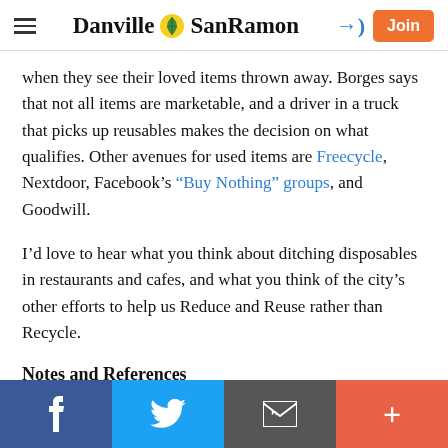Danville SanRamon
when they see their loved items thrown away. Borges says that not all items are marketable, and a driver in a truck that picks up reusables makes the decision on what qualifies. Other avenues for used items are Freecycle, Nextdoor, Facebook’s “Buy Nothing” groups, and Goodwill.
I’d love to hear what you think about ditching disposables in restaurants and cafes, and what you think of the city’s other efforts to help us Reduce and Reuse rather than Recycle.
Notes and References
Facebook | Twitter | Email | +